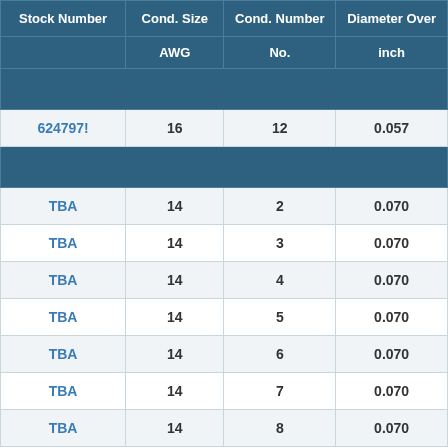| Stock Number | Cond. Size
AWG | Cond. Number
No. | Diameter Over
inch |
| --- | --- | --- | --- |
| 624797! | 16 | 12 | 0.057 |
| TBA | 14 | 2 | 0.070 |
| TBA | 14 | 3 | 0.070 |
| TBA | 14 | 4 | 0.070 |
| TBA | 14 | 5 | 0.070 |
| TBA | 14 | 6 | 0.070 |
| TBA | 14 | 7 | 0.070 |
| TBA | 14 | 8 | 0.070 |